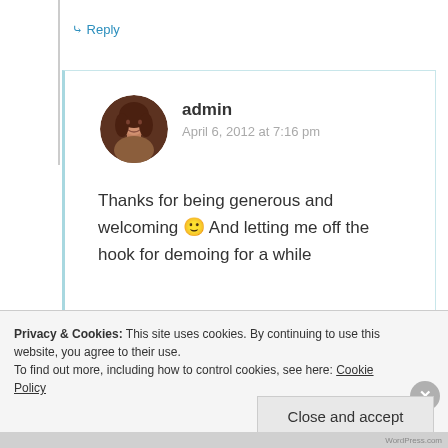↳ Reply
[Figure (photo): Circular avatar photo of a woman with curly brown hair]
admin
April 6, 2012 at 7:16 pm
Thanks for being generous and welcoming 🙂 And letting me off the hook for demoing for a while
Privacy & Cookies: This site uses cookies. By continuing to use this website, you agree to their use.
To find out more, including how to control cookies, see here: Cookie Policy
Close and accept